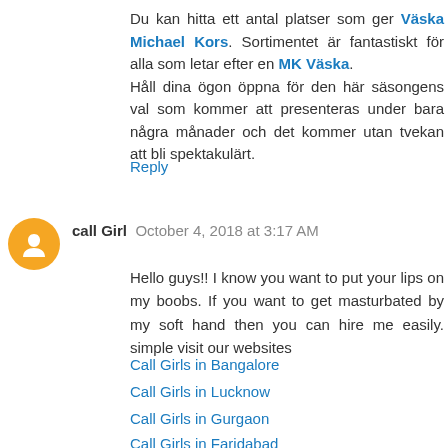Du kan hitta ett antal platser som ger Väska Michael Kors. Sortimentet är fantastiskt för alla som letar efter en MK Väska. Håll dina ögon öppna för den här säsongens val som kommer att presenteras under bara några månader och det kommer utan tvekan att bli spektakulärt.
Reply
call Girl October 4, 2018 at 3:17 AM
Hello guys!! I know you want to put your lips on my boobs. If you want to get masturbated by my soft hand then you can hire me easily. simple visit our websites
Call Girls in Bangalore
Call Girls in Lucknow
Call Girls in Gurgaon
Call Girls in Faridabad